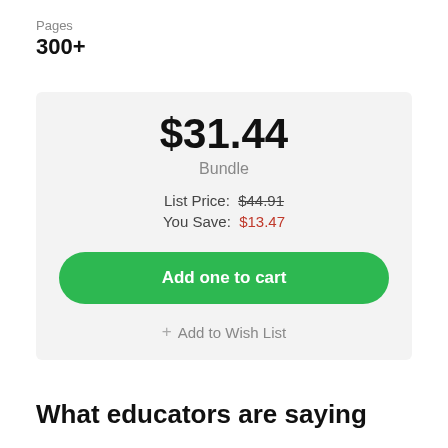Pages
300+
$31.44
Bundle
List Price: $44.91
You Save: $13.47
Add one to cart
+ Add to Wish List
What educators are saying